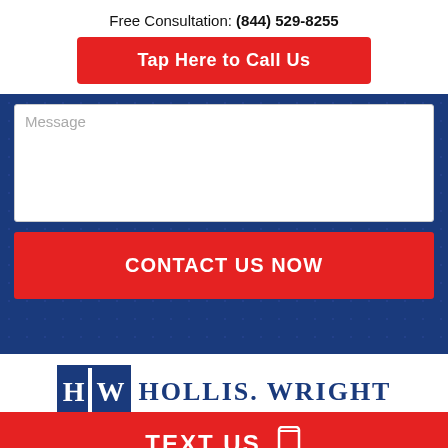Free Consultation: (844) 529-8255
Tap Here to Call Us
Message
CONTACT US NOW
[Figure (logo): Hollis Wright law firm logo with HW initials in blue and white block letters]
TEXT US